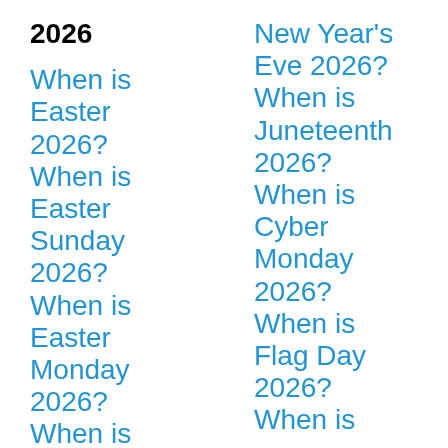2026
When is Easter 2026?
When is Easter Sunday 2026?
When is Easter Monday 2026?
When is
New Year's Eve 2026?
When is Juneteenth 2026?
When is Cyber Monday 2026?
When is Flag Day 2026?
When is